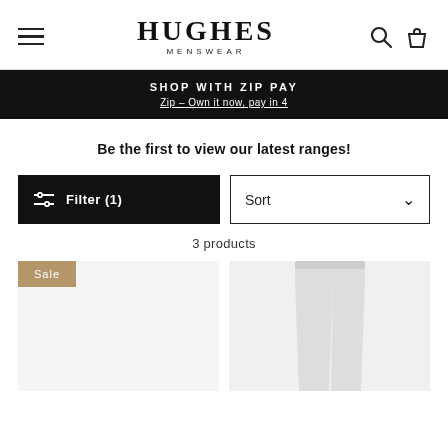HUGHES MENSWEAR
SHOP WITH ZIP PAY
Zip – Own it now, pay in 4
Be the first to view our latest ranges!
Filter (1)
Sort
3 products
[Figure (screenshot): Product card with Sale badge (tan/gold color) on left side, and a product card showing light grey trousers/pants on right side]